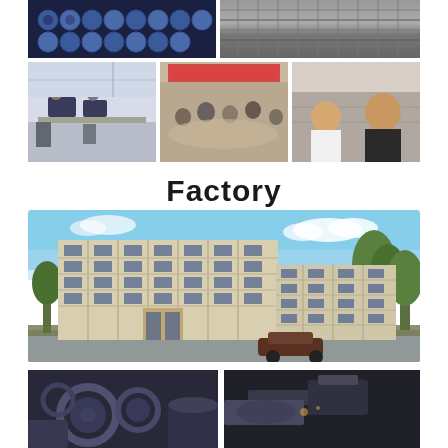[Figure (photo): Top banner with two industrial photos: left shows blue mechanical chain/beads close-up, right shows metal gear teeth close-up in grey tones]
[Figure (photo): Three photos side by side: left shows office workers at computers in a white office, middle shows a business meeting/trade show gathering, right shows two smiling businessmen in a showroom]
Factory
[Figure (photo): Large rendering of a multi-story factory building complex with beige/cream facade, blue sky, green trees, and cars in front]
[Figure (photo): Two close-up industrial machinery photos at bottom: left shows dark metal mechanical parts/gears, right shows dark precision machining/cutting tool]